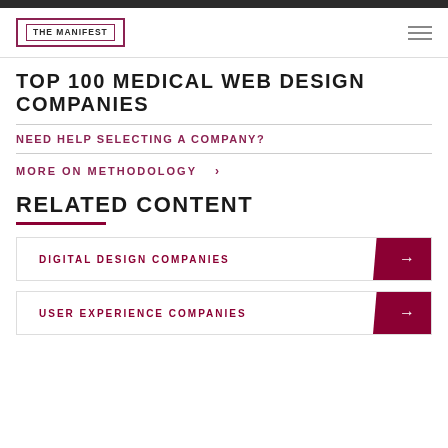THE MANIFEST
TOP 100 MEDICAL WEB DESIGN COMPANIES
NEED HELP SELECTING A COMPANY?
MORE ON METHODOLOGY >
RELATED CONTENT
DIGITAL DESIGN COMPANIES
USER EXPERIENCE COMPANIES